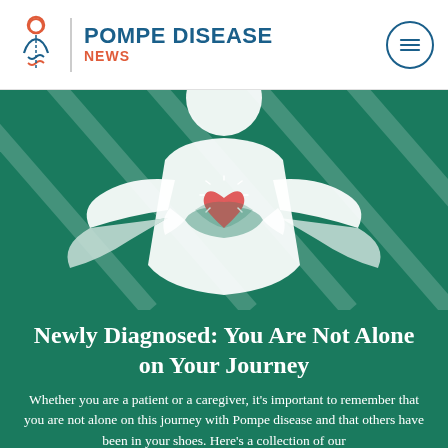POMPE DISEASE NEWS
[Figure (illustration): Illustration of a white figure with arms outstretched holding a red heart on a dark teal/green background with diagonal stripe patterns]
Newly Diagnosed: You Are Not Alone on Your Journey
Whether you are a patient or a caregiver, it's important to remember that you are not alone on this journey with Pompe disease and that others have been in your shoes. Here's a collection of our